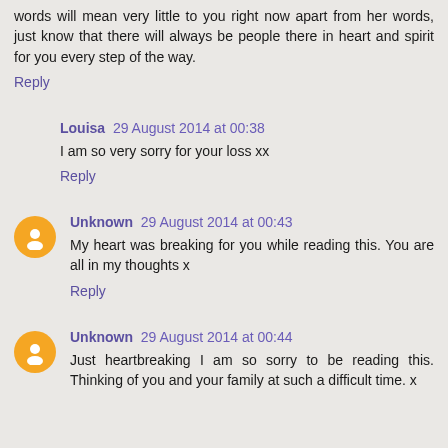words will mean very little to you right now apart from her words, just know that there will always be people there in heart and spirit for you every step of the way.
Reply
Louisa  29 August 2014 at 00:38
I am so very sorry for your loss xx
Reply
Unknown  29 August 2014 at 00:43
My heart was breaking for you while reading this. You are all in my thoughts x
Reply
Unknown  29 August 2014 at 00:44
Just heartbreaking I am so sorry to be reading this. Thinking of you and your family at such a difficult time. x